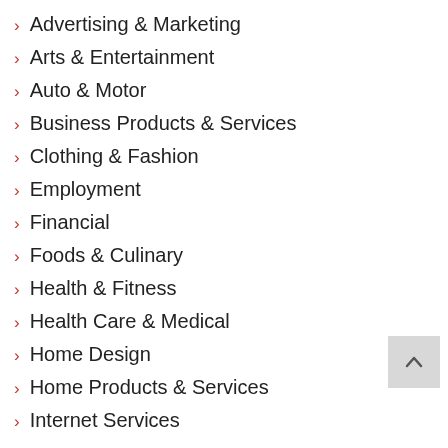Advertising & Marketing
Arts & Entertainment
Auto & Motor
Business Products & Services
Clothing & Fashion
Employment
Financial
Foods & Culinary
Health & Fitness
Health Care & Medical
Home Design
Home Products & Services
Internet Services